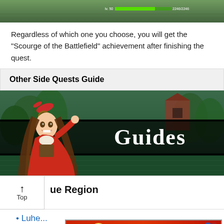[Figure (screenshot): Top cropped screenshot of a game scene with green health bar overlay]
Regardless of which one you choose, you will get the "Scourge of the Battlefield" achievement after finishing the quest.
Other Side Quests Guide
[Figure (illustration): Guides banner image with anime character in red outfit and goggles, with 'Guides' text on dark band over forest background]
ue Region
Luhr...
Chi ...
[Figure (screenshot): BitLife advertisement banner: FAIL character, START A NEW LIFE text]